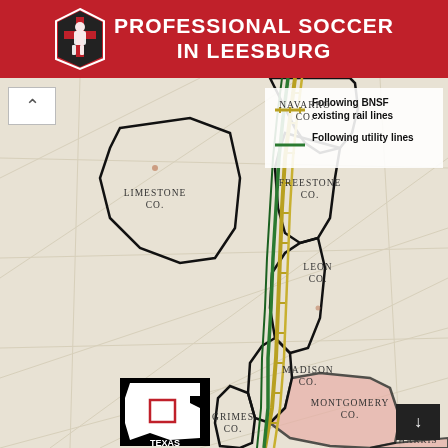PROFESSIONAL SOCCER IN LEESBURG
[Figure (map): Map of central Texas counties showing two pipeline/rail route corridors. A yellow/gold line represents 'Following BNSF existing rail lines' and a green line represents 'Following utility lines'. Counties labeled include Navarro Co., Limestone Co., Freestone Co., Leon Co., Madison Co., Grimes Co., Montgomery Co., and Harris. A small Texas state outline inset is shown at bottom left with a red rectangle indicating the mapped area.]